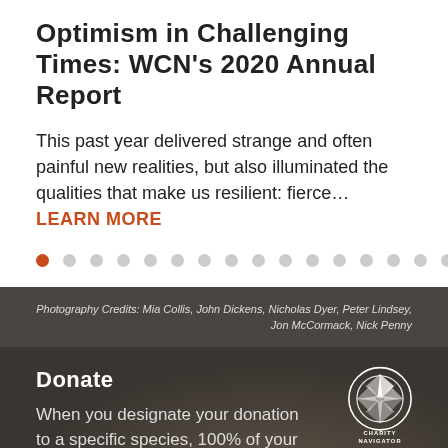Optimism in Challenging Times: WCN's 2020 Annual Report
This past year delivered strange and often painful new realities, but also illuminated the qualities that make us resilient: fierce… LEARN MORE
[Figure (infographic): Carousel navigation dots: first dot active (orange), remaining 15 dots inactive (grey)]
Photography Credits: Mia Collis, John Dickens, Nicholas Dyer, Peter Lindsey, Jon McCormack, Nick Penny
Donate
When you designate your donation to a specific species, 100% of your
[Figure (logo): Charity Navigator compass logo with text 'Charity Navigator']